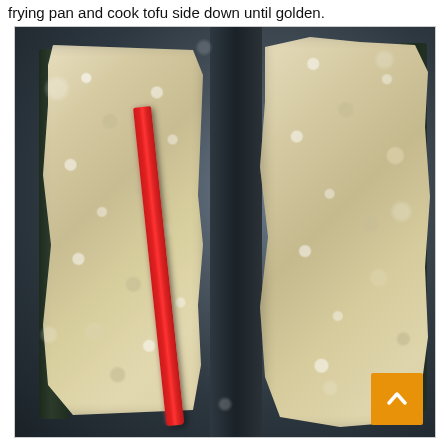frying pan and cook tofu side down until golden.
[Figure (photo): Close-up photo of two pieces of breaded/battered tofu coated with nori seaweed cooking in a dark non-stick frying pan. A red chopstick or spatula is positioned between the two pieces. The tofu pieces appear golden and textured on the surface. A small orange back-to-top arrow button is visible in the bottom right corner.]